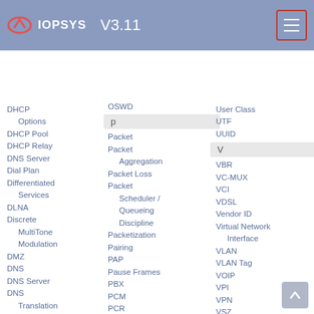IOPSYS V3.11
DHCP
Options
DHCP Pool
DHCP Relay
DNS Server
Dial Plan
Differentiated Services
DLNA
Discrete MultiTone Modulation
DMZ
DNS
DNS Server
DNS Translation File
DNSSEC
Domain Name Matching
Domain Name DOS
Downlink
p
OSWD
Packet
Packet Aggregation
Packet Loss
Packet Scheduler / Queueing Discipline
Packetization
Pairing
PAP
Pause Frames
PBX
PCM
PCR
Peak Load
PEM
Periodic Inform
PID
Ping
PKCS
User Class
UTF
UUID
V
VBR
VC-MUX
VCI
VDSL
Vendor ID
Virtual Network Interface
VLAN
VLAN Tag
VOIP
VPI
VPN
VSZ
%VSZ
W
WADL
WAN
Waterfall Diagram